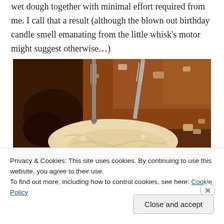wet dough together with minimal effort required from me. I call that a result (although the blown out birthday candle smell emanating from the little whisk's motor might suggest otherwise…)
[Figure (photo): Close-up photograph of wet dough being mixed in a bowl, with two forks visible in the dough. The dough is pale yellow/cream colored against a dark brown background.]
Privacy & Cookies: This site uses cookies. By continuing to use this website, you agree to their use.
To find out more, including how to control cookies, see here: Cookie Policy